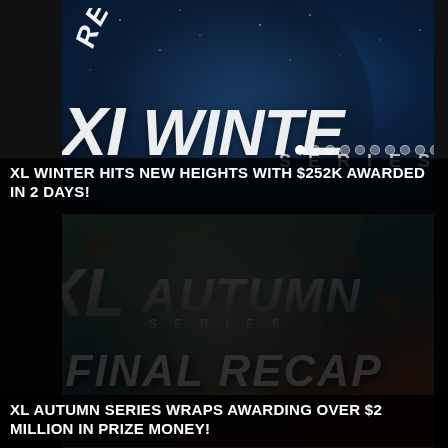[Figure (photo): XL Winter Series recap banner with dark blue starry night background, showing 'RECAP JAN 16, 17' in arc text and 'XL WINTER' large text. Carousel dot indicators visible at bottom right.]
XL WINTER HITS NEW HEIGHTS WITH $252K AWARDED IN 2 DAYS!
[Figure (photo): XL Autumn Series final recap banner with warm autumn-toned background featuring fall leaves. Shows 'XL AUTUMN SERIES' logo in metallic silver text and 'FINAL RECAP' large text below.]
XL AUTUMN SERIES WRAPS AWARDING OVER $2 MILLION IN PRIZE MONEY!